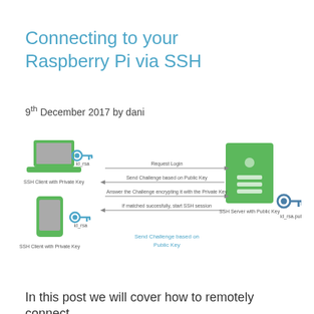Connecting to your Raspberry Pi via SSH
9th December 2017 by dani
[Figure (infographic): Diagram showing SSH public/private key authentication flow between SSH Client with Private Key (laptop and phone icons with blue key, labeled id_rsa) and SSH Server with Public Key (green server icon with blue key, labeled id_rsa.pub). Arrows show: Request Login →, ← Send Challenge based on Public Key, Answer the Challenge encrypting it with the Private Key →, ← If matched succesfully, start SSH session. Below center: 'Send Challenge based on Public Key' in blue text.]
In this post we will cover how to remotely connect